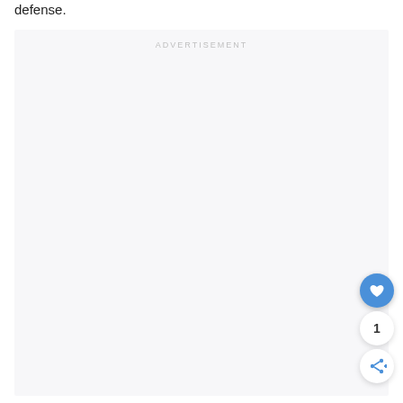defense.
[Figure (other): Advertisement placeholder box with light gray background labeled ADVERTISEMENT at the top center]
[Figure (other): Floating action button with blue circle containing a white heart icon, a white circle with the number 1, and a white circle with a share icon]